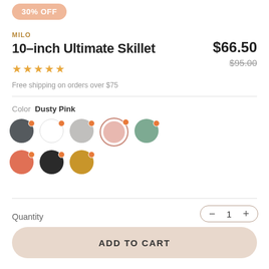30% OFF
MILO
10–inch Ultimate Skillet
$66.50
$95.00
[Figure (other): 5 gold star rating]
Free shipping on orders over $75
Color  Dusty Pink
[Figure (other): Color swatches: dark gray, white, light gray, dusty pink (selected), sage green, terracotta, black, mustard yellow]
Quantity
– 1 +
ADD TO CART